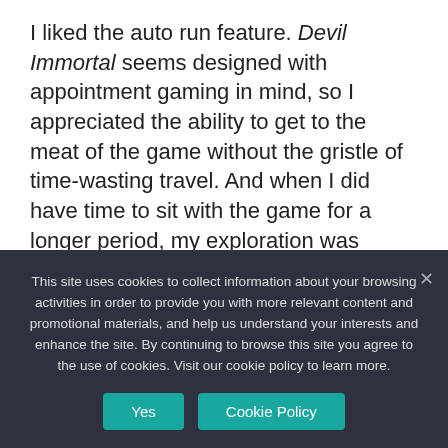I liked the auto run feature. Devil Immortal seems designed with appointment gaming in mind, so I appreciated the ability to get to the meat of the game without the gristle of time-wasting travel. And when I did have time to sit with the game for a longer period, my exploration was gamely rewarded by a chance encounter with a challenging world boss.
Combat also has the same complexity as
This site uses cookies to collect information about your browsing activities in order to provide you with more relevant content and promotional materials, and help us understand your interests and enhance the site. By continuing to browse this site you agree to the use of cookies. Visit our cookie policy to learn more.